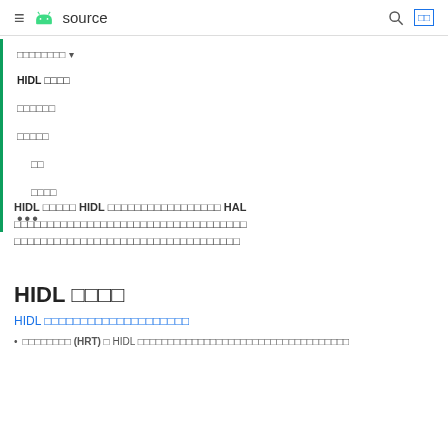≡ [android logo] source [search] [language]
[nav dropdown]
HIDL [squares]
[squares]
[squares]
[indent] [squares]
[indent] [squares]
...
HIDL [squares] HIDL [squares] HAL [squares]
HIDL [squares]
HIDL [squares link text]
[squares] (HRT) [squares] HIDL [squares]